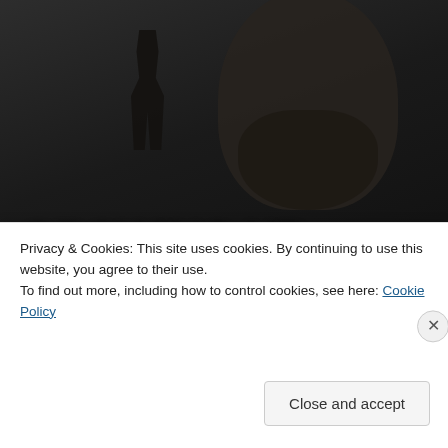[Figure (illustration): Book cover for 'Growing Up Bin Laden: Osama's Wife and Son Take Us Inside Their Secret World' showing silhouetted figures against a dark background with bold white text]
[Figure (other): Advertisement banner with dark blue-gray background reading 'Discover new reads on the go.' with 'GET THE APP' call to action and WordPress logo]
Privacy & Cookies: This site uses cookies. By continuing to use this website, you agree to their use. To find out more, including how to control cookies, see here: Cookie Policy
Close and accept